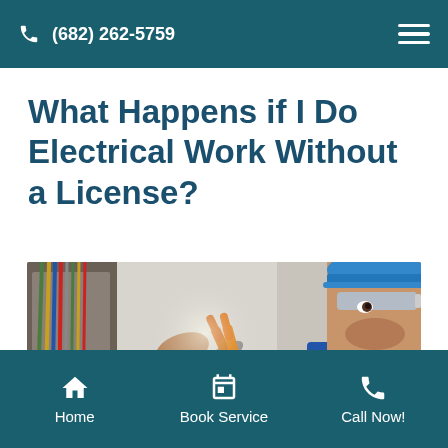(682) 262-5759
What Happens if I Do Electrical Work Without a License?
[Figure (photo): An electrician wearing a blue hard hat and safety glasses working on electrical wiring in a panel box, using orange-handled pliers/wire cutters. He wears a blue shirt and a watch. The background shows exposed colored wires and the panel structure.]
Home   Book Service   Call Now!